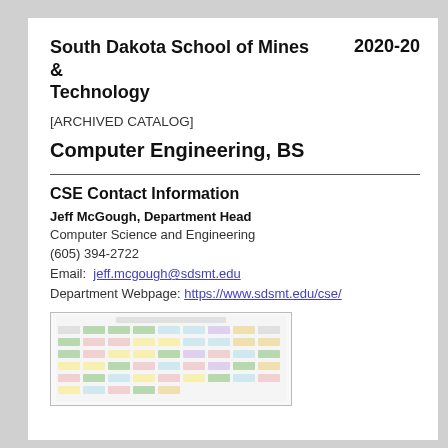South Dakota School of Mines & Technology    2020-20
[ARCHIVED CATALOG]
Computer Engineering, BS
CSE Contact Information
Jeff McGough, Department Head
Computer Science and Engineering
(605) 394-2722
Email:  jeff.mcgough@sdsmt.edu
Department Webpage:  https://www.sdsmt.edu/cse/
[Figure (other): A colorful course flowchart/curriculum map showing prerequisite chains for the Computer Engineering BS program at South Dakota School of Mines & Technology.]